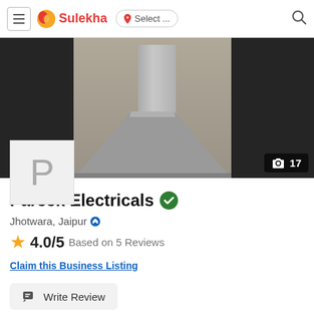Sulekha  Select ...
[Figure (photo): Hero background photo showing kitchen chimney/hood between dark cabinet panels]
Pareek Electricals
Jhotwara, Jaipur
4.0/5 Based on 5 Reviews
Claim this Business Listing
Write Review